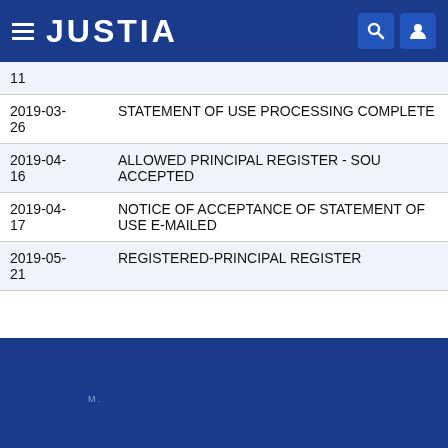JUSTIA
| Date | Event |
| --- | --- |
| 11 |  |
| 2019-03-26 | STATEMENT OF USE PROCESSING COMPLETE |
| 2019-04-16 | ALLOWED PRINCIPAL REGISTER - SOU ACCEPTED |
| 2019-04-17 | NOTICE OF ACCEPTANCE OF STATEMENT OF USE E-MAILED |
| 2019-05-21 | REGISTERED-PRINCIPAL REGISTER |